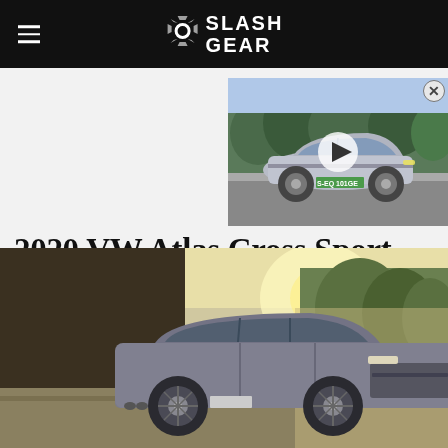SlashGear
[Figure (screenshot): Video thumbnail overlay showing a silver Mercedes electric car on a road with trees in background, with a play button overlay and license plate reading S-EQ 101GE]
2020 VW Atlas Cross Sport Pricing Confirmed: Two-Row SUV Undercuts Atlas
[Figure (photo): Photo of a grey VW Atlas Cross Sport SUV parked in front of a building with trees and bright sunlight in background]